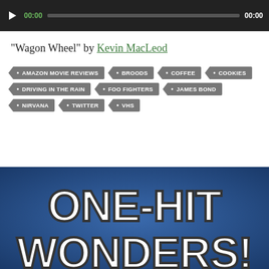[Figure (other): Audio player bar with play button, green 00:00 start time, progress track, and white 00:00 end time on dark background]
“Wagon Wheel” by Kevin MacLeod
AMAZON MOVIE REVIEWS
BROODS
COFFEE
COOKIES
DRIVING IN THE RAIN
FOO FIGHTERS
JAMES BOND
NIRVANA
TWITTER
VHS
[Figure (illustration): Blue gradient background with large bold white text reading ONE-HIT WONDERS! in a retro/comic style]